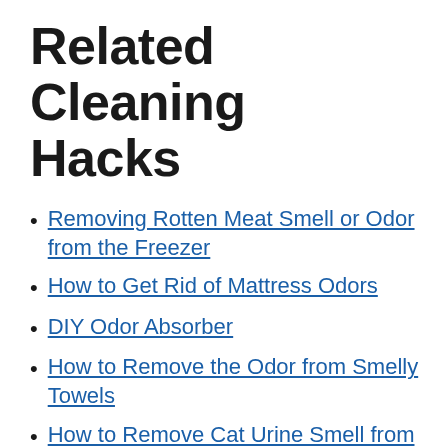Related Cleaning Hacks
Removing Rotten Meat Smell or Odor from the Freezer
How to Get Rid of Mattress Odors
DIY Odor Absorber
How to Remove the Odor from Smelly Towels
How to Remove Cat Urine Smell from Carpet for GOOD